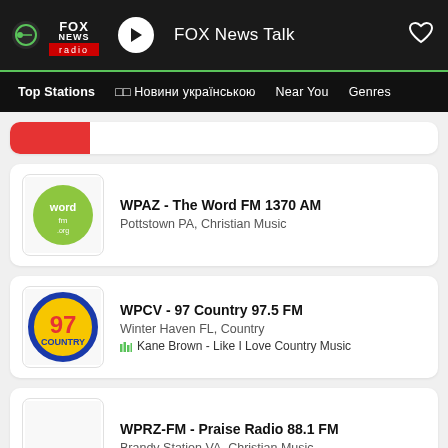[Figure (screenshot): Top navigation bar showing FOX News Radio logo, play button, station name 'FOX News Talk', and heart/favorite icon on dark background with green bottom border]
Top Stations  □□ Новини українською  Near You  Genres
WPAZ - The Word FM 1370 AM
Pottstown PA, Christian Music
WPCV - 97 Country 97.5 FM
Winter Haven FL, Country
Kane Brown - Like I Love Country Music
WPRZ-FM - Praise Radio 88.1 FM
Brandy Station VA, Christian Music
WPRE... (partially visible)